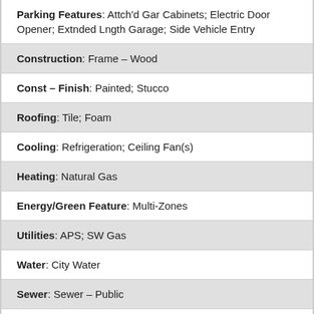Parking Features: Attch'd Gar Cabinets; Electric Door Opener; Extnded Lngth Garage; Side Vehicle Entry
Construction: Frame – Wood
Const – Finish: Painted; Stucco
Roofing: Tile; Foam
Cooling: Refrigeration; Ceiling Fan(s)
Heating: Natural Gas
Energy/Green Feature: Multi-Zones
Utilities: APS; SW Gas
Water: City Water
Sewer: Sewer – Public
Fencing: Block
Property Description: City Light View(s);